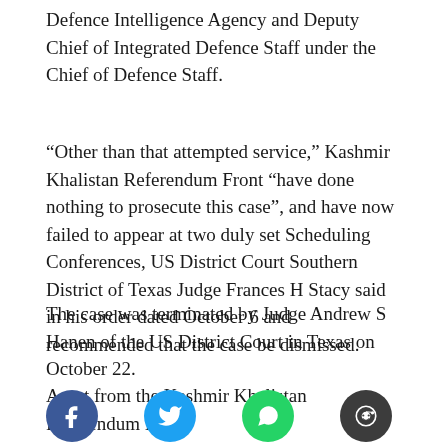Defence Intelligence Agency and Deputy Chief of Integrated Defence Staff under the Chief of Defence Staff.
“Other than that attempted service,” Kashmir Khalistan Referendum Front “have done nothing to prosecute this case”, and have now failed to appear at two duly set Scheduling Conferences, US District Court Southern District of Texas Judge Frances H Stacy said in his order dated October 6 and recommended that the case be dismissed.
The case was terminated by Judge Andrew S Hanen of the US District Court in Texas on October 22.
Apart from the Kashmir Khalistan Referendum Front,
[Figure (infographic): Four social media share buttons in a row: Facebook (blue circle with f), Twitter (cyan circle with bird icon), WhatsApp (green circle with phone icon), Reddit (dark circle with alien icon)]